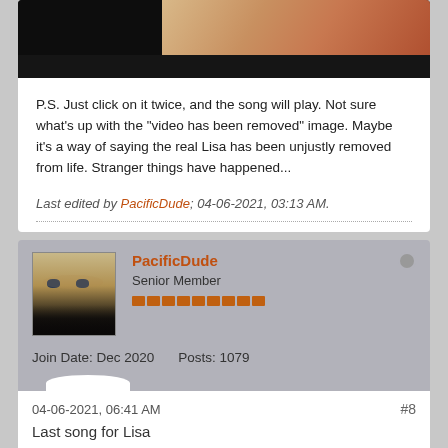[Figure (photo): Partial photo of people, dark background with skin tones visible, bottom portion cut off]
P.S. Just click on it twice, and the song will play. Not sure what's up with the "video has been removed" image. Maybe it's a way of saying the real Lisa has been unjustly removed from life. Stranger things have happened...
Last edited by PacificDude; 04-06-2021, 03:13 AM.
PacificDude
Senior Member
Join Date: Dec 2020   Posts: 1079
04-06-2021, 06:41 AM
#8
Last song for Lisa